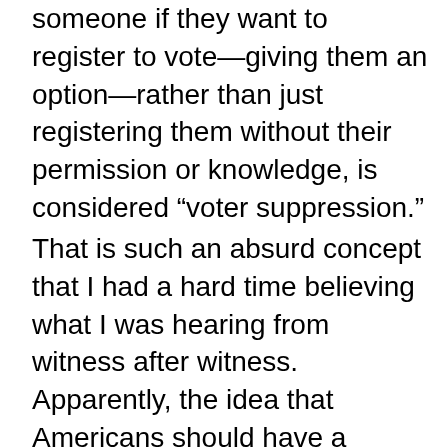someone if they want to register to vote—giving them an option—rather than just registering them without their permission or knowledge, is considered “voter suppression.”
That is such an absurd concept that I had a hard time believing what I was hearing from witness after witness. Apparently, the idea that Americans should have a choice and the freedom to make their own decision on whether to opt in to being registered is an outmoded concept akin to the worst excesses of the segregationists of the pre-civil rights era.